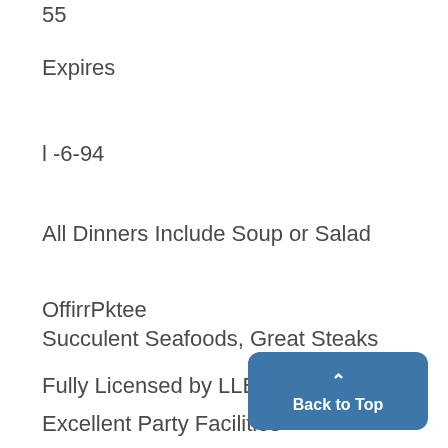55
Expires
l -6-94
All Dinners Include Soup or Salad
OffirrPktee
Succulent Seafoods, Great Steaks
Fully Licensed by LLBO
Excellent Party Facilities